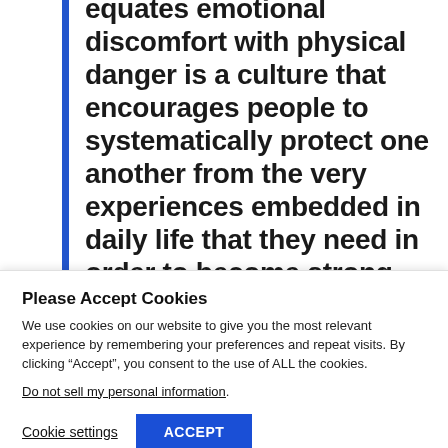of safety, to accept all which equates emotional discomfort with physical danger is a culture that encourages people to systematically protect one another from the very experiences embedded in daily life that they need in order to become strong and...
Please Accept Cookies
We use cookies on our website to give you the most relevant experience by remembering your preferences and repeat visits. By clicking “Accept”, you consent to the use of ALL the cookies.
Do not sell my personal information.
Cookie settings   ACCEPT